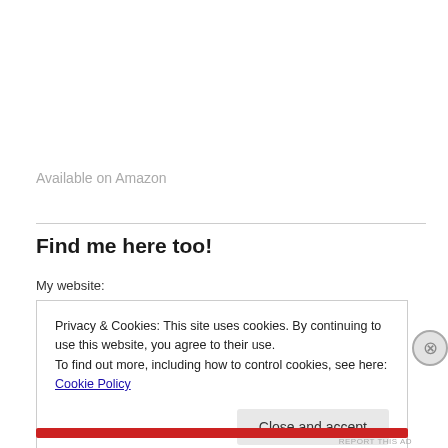Available on Amazon
Find me here too!
My website:
Privacy & Cookies: This site uses cookies. By continuing to use this website, you agree to their use.
To find out more, including how to control cookies, see here: Cookie Policy
Close and accept